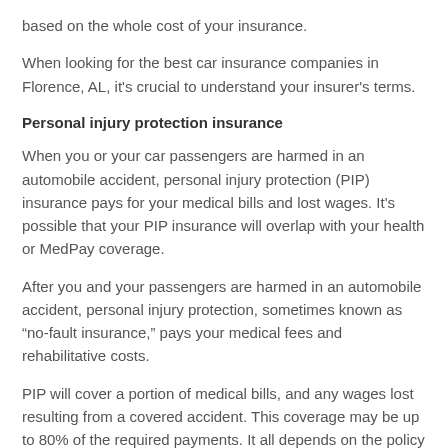based on the whole cost of your insurance.
When looking for the best car insurance companies in Florence, AL, it's crucial to understand your insurer's terms.
Personal injury protection insurance
When you or your car passengers are harmed in an automobile accident, personal injury protection (PIP) insurance pays for your medical bills and lost wages. It's possible that your PIP insurance will overlap with your health or MedPay coverage.
After you and your passengers are harmed in an automobile accident, personal injury protection, sometimes known as “no-fault insurance,” pays your medical fees and rehabilitative costs.
PIP will cover a portion of medical bills, and any wages lost resulting from a covered accident. This coverage may be up to 80% of the required payments. It all depends on the policy limitations.